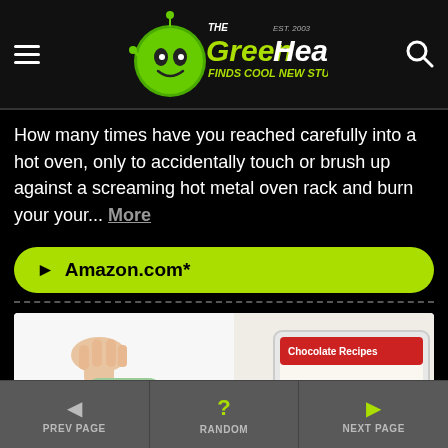The Green Head - Finds Cool New Stuff!
How many times have you reached carefully into a hot oven, only to accidentally touch or brush up against a screaming hot metal oven rack and burn your your... More
► Amazon.com*
[Figure (photo): Product photo showing a glass jar tipping sugar onto a plate, and a tablet displaying a recipe website]
◄ PREV PAGE  ? RANDOM  ► NEXT PAGE